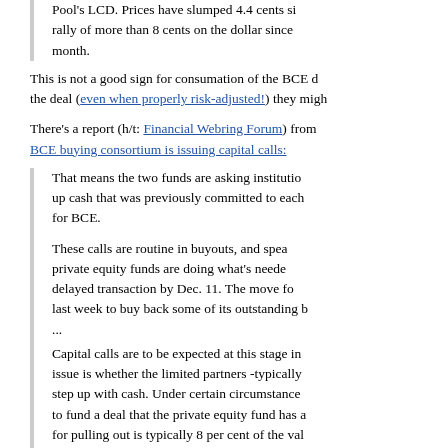Pool's LCD. Prices have slumped 4.4 cents since a rally of more than 8 cents on the dollar since month.
This is not a good sign for consumation of the BCE deal the deal (even when properly risk-adjusted!) they might
There's a report (h/t: Financial Webring Forum) from BCE buying consortium is issuing capital calls:
That means the two funds are asking institutions up cash that was previously committed to each for BCE.
These calls are routine in buyouts, and speak private equity funds are doing what's needed delayed transaction by Dec. 11. The move fo last week to buy back some of its outstanding b ...
Capital calls are to be expected at this stage in issue is whether the limited partners -typically step up with cash. Under certain circumstances to fund a deal that the private equity fund has a for pulling out is typically 8 per cent of the value that was requested.
Well, maybe I'm a cynic, but I don't see this as meaning another. Of course everybody's pretending the deal w